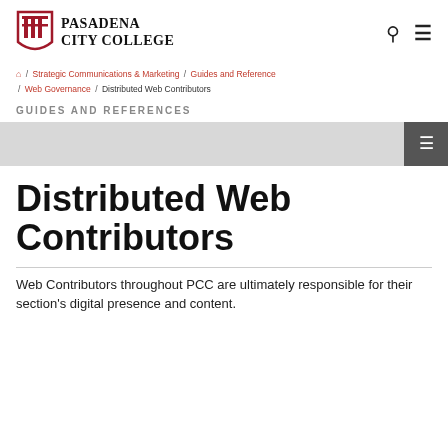[Figure (logo): Pasadena City College logo with red shield/columns icon and bold serif text]
Strategic Communications & Marketing / Guides and Reference / Web Governance / Distributed Web Contributors
GUIDES AND REFERENCES
[Figure (other): Light gray navigation sidebar bar with dark gray menu toggle button]
Distributed Web Contributors
Web Contributors throughout PCC are ultimately responsible for their section's digital presence and content.